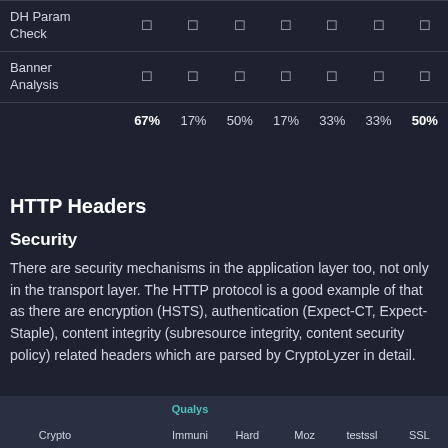|  | Crypto | Qualys | Immuni | Hard | Moz | testssl | SSL |
| --- | --- | --- | --- | --- | --- | --- | --- |
| DH Param Check | ☐ | ☐ | ☐ | ☐ | ☐ | ☐ | ☐ |
| Banner Analysis | ☐ | ☐ | ☐ | ☐ | ☐ | ☐ | ☐ |
|  | 67% | 17% | 50% | 17% | 33% | 33% | 50% |
HTTP Headers
Security
There are security mechanisms in the application layer too, not only in the transport layer. The HTTP protocol is a good example of that as there are encryption (HSTS), authentication (Expect-CT, Expect-Staple), content integrity (subresource integrity, content security policy) related headers which are parsed by CryptoLyzer in detail.
| Crypto | Qualys | Immuni | Hard | Moz | testssl | SSL |
| --- | --- | --- | --- | --- | --- | --- |